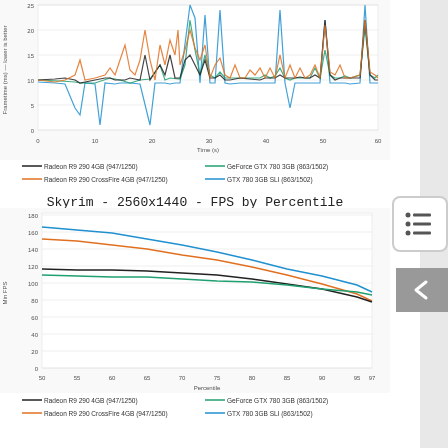[Figure (continuous-plot): Frametime (ms) vs Time (s) line chart showing 4 GPU series: Radeon R9 290 4GB, Radeon R9 290 CrossFire 4GB, GeForce GTX 780 3GB, GTX 780 3GB SLI. Y-axis 0-25, X-axis 0-60 seconds. Multiple spikes visible especially around 15s, 30s, 50s.]
Radeon R9 290 4GB (947/1250) — Radeon R9 290 CrossFire 4GB (947/1250) — GeForce GTX 780 3GB (863/1502) — GTX 780 3GB SLI (863/1502)
[Figure (line-chart): Skyrim - 2560x1440 - FPS by Percentile]
Radeon R9 290 4GB (947/1250) — Radeon R9 290 CrossFire 4GB (947/1250) — GeForce GTX 780 3GB (863/1502) — GTX 780 3GB SLI (863/1502)
Skyrim - 2560x1440 - Frame Variance